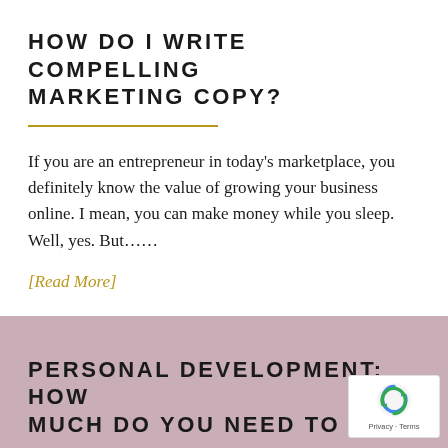HOW DO I WRITE COMPELLING MARKETING COPY?
If you are an entrepreneur in today’s marketplace, you definitely know the value of growing your business online. I mean, you can make money while you sleep. Well, yes. But……
[Read More]
PERSONAL DEVELOPMENT: HOW MUCH DO YOU NEED TO GROW